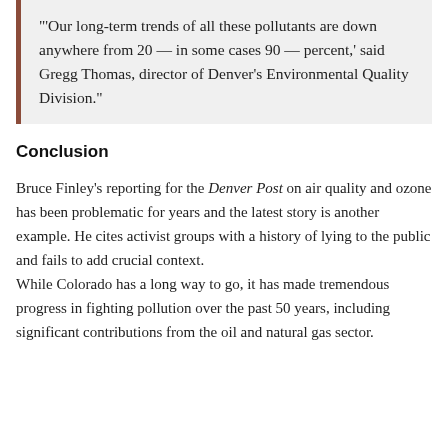'Our long-term trends of all these pollutants are down anywhere from 20 — in some cases 90 — percent,' said Gregg Thomas, director of Denver's Environmental Quality Division."
Conclusion
Bruce Finley's reporting for the Denver Post on air quality and ozone has been problematic for years and the latest story is another example. He cites activist groups with a history of lying to the public and fails to add crucial context.
While Colorado has a long way to go, it has made tremendous progress in fighting pollution over the past 50 years, including significant contributions from the oil and natural gas sector.